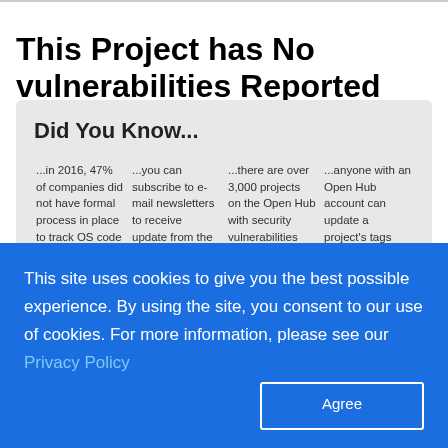This Project has No vulnerabilities Reported Against it
Did You Know...
... in 2016, 47% of companies did not have formal process in place to track OS code
... you can subscribe to e-mail newsletters to receive update from the Open Hub blog
... there are over 3,000 projects on the Open Hub with security vulnerabilities reported against them
... anyone with an Open Hub account can update a project's tags
This site uses cookies to give you the best possible experience. By using the site, you consent to our use of cookies. For more information, please see our Privacy Policy